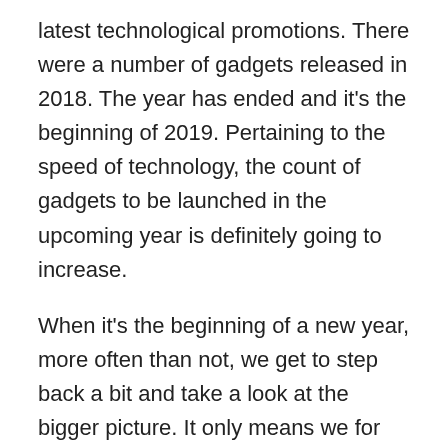latest technological promotions. There were a number of gadgets released in 2018. The year has ended and it's the beginning of 2019. Pertaining to the speed of technology, the count of gadgets to be launched in the upcoming year is definitely going to increase.
When it's the beginning of a new year, more often than not, we get to step back a bit and take a look at the bigger picture. It only means we for ourselves get to decide which device actually made a difference to the technological domain and which just missed the track. When a person decides to invest in an expensive and technologically advanced device, he makes sure that he is truly